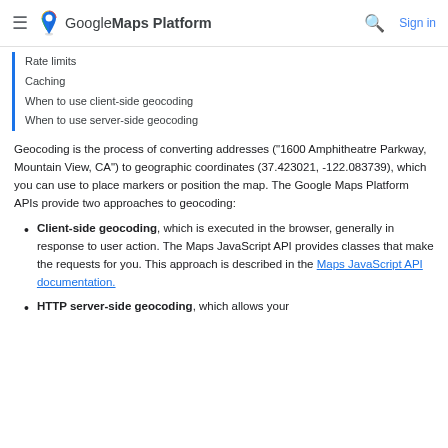Google Maps Platform  Sign in
Rate limits
Caching
When to use client-side geocoding
When to use server-side geocoding
Geocoding is the process of converting addresses ("1600 Amphitheatre Parkway, Mountain View, CA") to geographic coordinates (37.423021, -122.083739), which you can use to place markers or position the map. The Google Maps Platform APIs provide two approaches to geocoding:
Client-side geocoding, which is executed in the browser, generally in response to user action. The Maps JavaScript API provides classes that make the requests for you. This approach is described in the Maps JavaScript API documentation.
HTTP server-side geocoding, which allows your